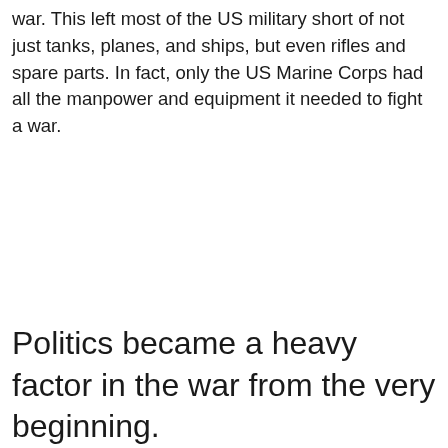war. This left most of the US military short of not just tanks, planes, and ships, but even rifles and spare parts. In fact, only the US Marine Corps had all the manpower and equipment it needed to fight a war.
Politics became a heavy factor in the war from the very beginning.